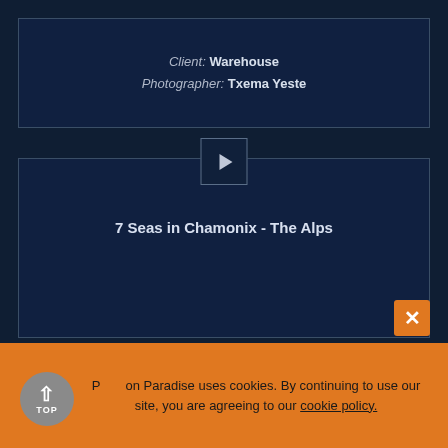Client: Warehouse
Photographer: Txema Yeste
[Figure (screenshot): Video player box with play button and title '7 Seas in Chamonix - The Alps' on dark navy background]
7 Seas in Chamonix - The Alps
P on Paradise uses cookies. By continuing to use our site, you are agreeing to our cookie policy.